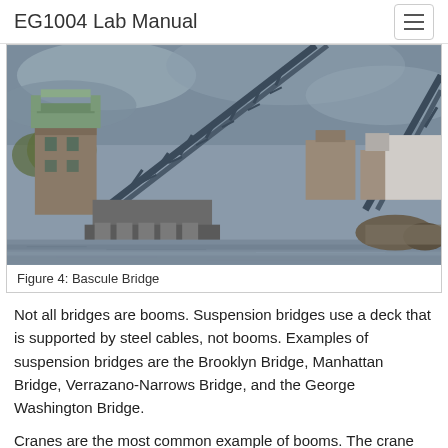EG1004 Lab Manual
[Figure (photo): Photograph of a bascule bridge raised over a waterway, with a stone tower on the left bank and residential buildings visible in the background under a cloudy sky.]
Figure 4: Bascule Bridge
Not all bridges are booms. Suspension bridges use a deck that is supported by steel cables, not booms. Examples of suspension bridges are the Brooklyn Bridge, Manhattan Bridge, Verrazano-Narrows Bridge, and the George Washington Bridge.
Cranes are the most common example of booms. The crane